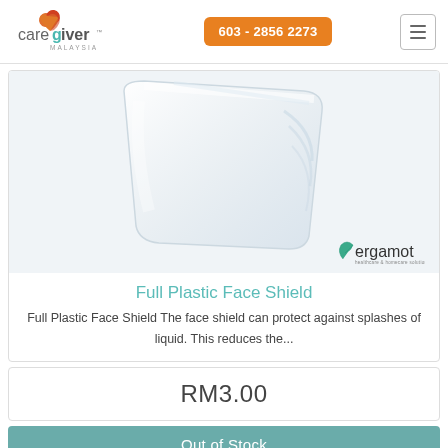[Figure (logo): Caregiver Malaysia logo with orange/red heart icons and teal G letter]
603 - 2856 2273
[Figure (photo): Full Plastic Face Shield product photo, transparent shield on light background with Bergamot brand logo]
Full Plastic Face Shield
Full Plastic Face Shield The face shield can protect against splashes of liquid. This reduces the...
RM3.00
Out of Stock